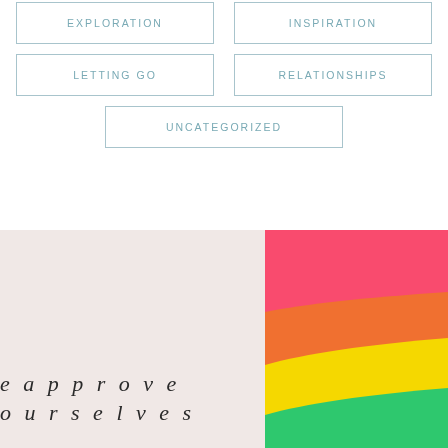EXPLORATION
INSPIRATION
LETTING GO
RELATIONSHIPS
UNCATEGORIZED
[Figure (illustration): Left panel with light pink/beige background and italic text reading 'e approve oursel ves' in dark serif font. Right panel shows colorful rainbow-like curved bands in red/pink, orange, yellow, and green colors stacked from top to bottom.]
e approve oursel ves